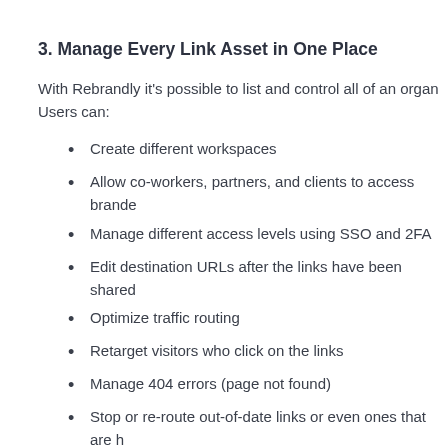3. Manage Every Link Asset in One Place
With Rebrandly it's possible to list and control all of an organ… Users can:
Create different workspaces
Allow co-workers, partners, and clients to access brande…
Manage different access levels using SSO and 2FA
Edit destination URLs after the links have been shared
Optimize traffic routing
Retarget visitors who click on the links
Manage 404 errors (page not found)
Stop or re-route out-of-date links or even ones that are h… organization
Enforce compliance standards for security, communicat…
Control which members of the organization can…